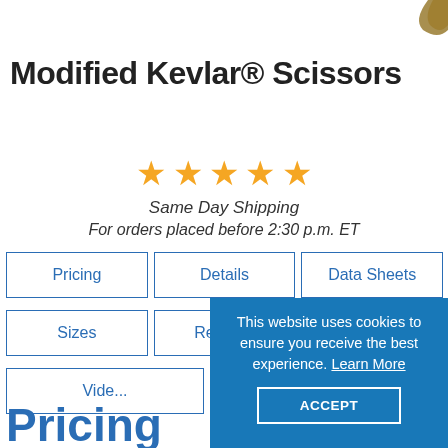[Figure (photo): Partial view of scissors product image in top-right corner]
Modified Kevlar® Scissors
[Figure (other): Five gold star rating]
Same Day Shipping
For orders placed before 2:30 p.m. ET
Pricing
Details
Data Sheets
Sizes
Reviews
Q and...
Videos
This website uses cookies to ensure you receive the best experience. Learn More
ACCEPT
Pricing